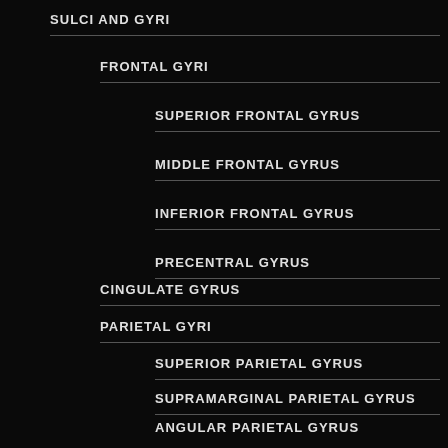SULCI AND GYRI
FRONTAL GYRI
SUPERIOR FRONTAL GYRUS
MIDDLE FRONTAL GYRUS
INFERIOR FRONTAL GYRUS
PRECENTRAL GYRUS
CINGULATE GYRUS
PARIETAL GYRI
SUPERIOR PARIETAL GYRUS
SUPRAMARGINAL PARIETAL GYRUS
ANGULAR PARIETAL GYRUS
OCCIPITAL GYRUS